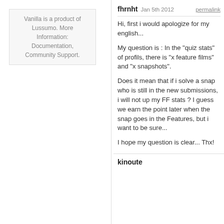Vanilla is a product of Lussumo. More Information: Documentation, Community Support.
fhrnht Jan 5th 2012 permalink

Hi, first i would apologize for my english...

My question is : In the "quiz stats" of profils, there is "x feature films" and "x snapshots".

Does it mean that if i solve a snap who is still in the new submissions, i will not up my FF stats ? I guess we earn the point later when the snap goes in the Features, but i want to be sure...

I hope my question is clear... Thx!
kinoute ...